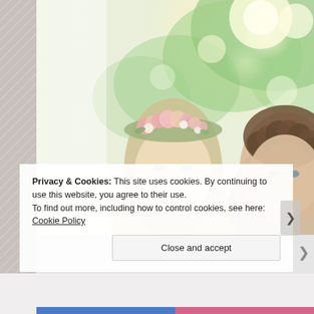[Figure (photo): A couple outdoors. A woman with long blonde hair wearing a flower crown made of pink and white flowers, and a man with curly dark hair, both facing the camera. Background shows blurred green trees and warm sunlight bokeh.]
Privacy & Cookies: This site uses cookies. By continuing to use this website, you agree to their use.
To find out more, including how to control cookies, see here: Cookie Policy
Close and accept